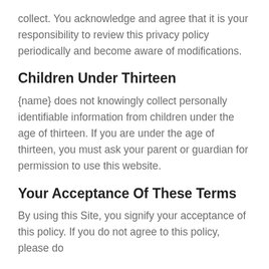collect. You acknowledge and agree that it is your responsibility to review this privacy policy periodically and become aware of modifications.
Children Under Thirteen
{name} does not knowingly collect personally identifiable information from children under the age of thirteen. If you are under the age of thirteen, you must ask your parent or guardian for permission to use this website.
Your Acceptance Of These Terms
By using this Site, you signify your acceptance of this policy. If you do not agree to this policy, please do